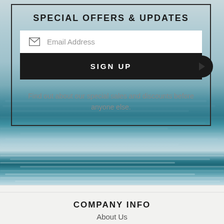SPECIAL OFFERS & UPDATES
Email Address
SIGN UP
Find out about our special sales and discounts before anyone else.
[Figure (photo): Ocean/sea water background image with teal and white wave patterns]
COMPANY INFO
About Us
Military Support
Become a Supplier
Fundraising